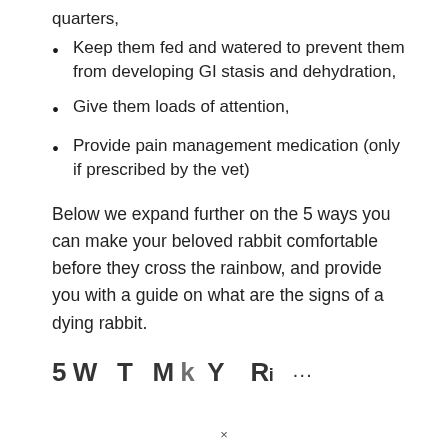quarters,
Keep them fed and watered to prevent them from developing GI stasis and dehydration,
Give them loads of attention,
Provide pain management medication (only if prescribed by the vet)
Below we expand further on the 5 ways you can make your beloved rabbit comfortable before they cross the rainbow, and provide you with a guide on what are the signs of a dying rabbit.
5 Ways To Make Your Rabbit...